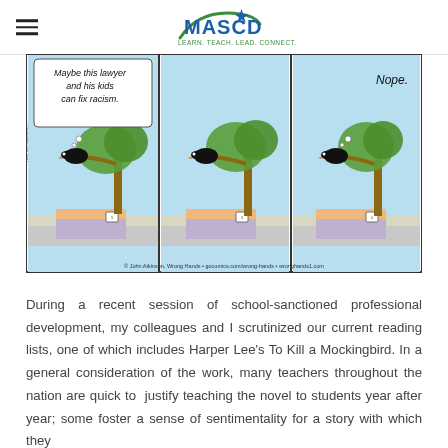MASCD — Learn. Teach. Lead. Connect.
[Figure (illustration): A three-panel comic strip by John Atkinson (Wrong Hands). Each panel shows a black bird perched on a tree branch overlooking a neighbourhood scene. In the first panel, the bird thinks 'Maybe this lawyer and his kids can fix racism.' The second panel is silent. The third panel shows the bird thinking 'Nope.' Attribution: © John Atkinson, Wrong Hands • gocomics.com/wrong-hands • wronghands1.com]
During a recent session of school-sanctioned professional development, my colleagues and I scrutinized our current reading lists, one of which includes Harper Lee's To Kill a Mockingbird. In a general consideration of the work, many teachers throughout the nation are quick to justify teaching the novel to students year after year; some foster a sense of sentimentality for a story with which they